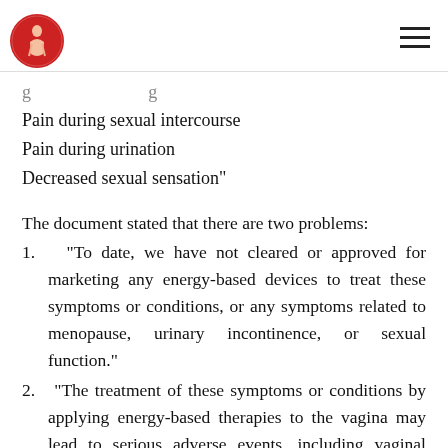[Logo] [Menu icon]
Pain during sexual intercourse
Pain during urination
Decreased sexual sensation"
The document stated that there are two problems:
1. "To date, we have not cleared or approved for marketing any energy-based devices to treat these symptoms or conditions, or any symptoms related to menopause, urinary incontinence, or sexual function."
2. "The treatment of these symptoms or conditions by applying energy-based therapies to the vagina may lead to serious adverse events, including vaginal burns, scarring, pain during sexual intercourse, and recurring/chronic pain."